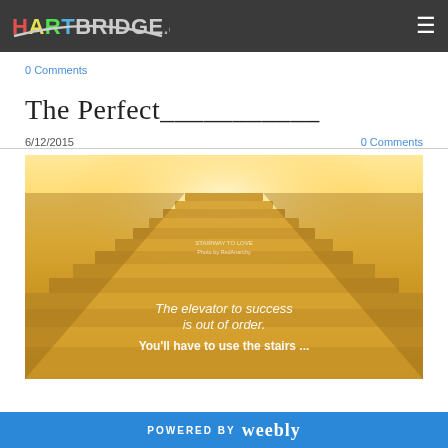HARTBRIDGE.ca
0 Comments
The Perfect___________
6/12/2015
0 Comments
[Figure (photo): Golden staircase leading upward with bright light at the top. Text overlay reads: 'The elevator to success is out of order. You'll have to use the stairs ...']
POWERED BY Weebly